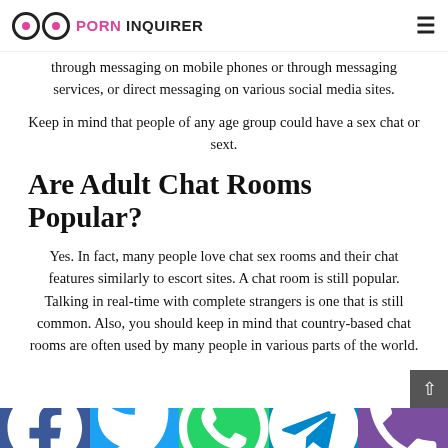PORN INQUIRER
through messaging on mobile phones or through messaging services, or direct messaging on various social media sites.
Keep in mind that people of any age group could have a sex chat or sext.
Are Adult Chat Rooms Popular?
Yes. In fact, many people love chat sex rooms and their chat features similarly to escort sites. A chat room is still popular. Talking in real-time with complete strangers is one that is still common. Also, you should keep in mind that country-based chat rooms are often used by many people in various parts of the world.
Facebook | Twitter | WhatsApp | Telegram | Phone